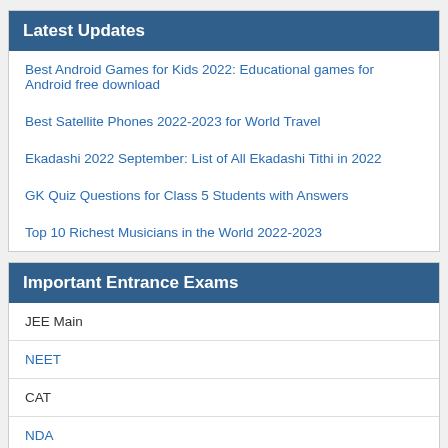Latest Updates
Best Android Games for Kids 2022: Educational games for Android free download
Best Satellite Phones 2022-2023 for World Travel
Ekadashi 2022 September: List of All Ekadashi Tithi in 2022
GK Quiz Questions for Class 5 Students with Answers
Top 10 Richest Musicians in the World 2022-2023
Important Entrance Exams
JEE Main
NEET
CAT
NDA
CDS